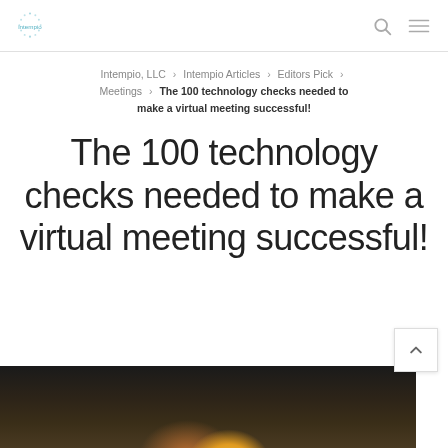intempio
Intempio, LLC › Intempio Articles › Editors Pick › Meetings › The 100 technology checks needed to make a virtual meeting successful!
The 100 technology checks needed to make a virtual meeting successful!
[Figure (photo): Photo of a person holding their head/hands near their face, dark background with warm bokeh light in center]